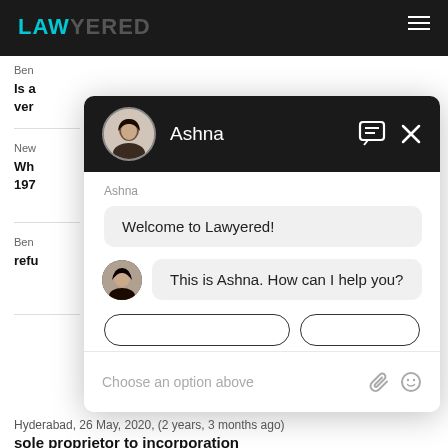[Figure (screenshot): Screenshot of Lawyered website with a chat widget overlay showing a conversation with 'Ashna'. The chat header is dark with the agent's name and avatar. The chat shows 'Welcome to Lawyered!' and 'This is Ashna. How can I help you?' messages. The input area shows 'Choose an option above' placeholder text. Background shows partially visible legal Q&A content.]
Ashna
Welcome to Lawyered!
This is Ashna. How can I help you?
Choose an option above
Hyderabad,  26 May, 2020,  (2 years, 3 months ago)
sole proprietor to incorporation